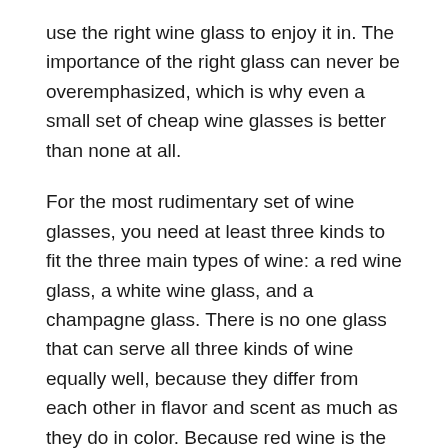use the right wine glass to enjoy it in. The importance of the right glass can never be overemphasized, which is why even a small set of cheap wine glasses is better than none at all.
For the most rudimentary set of wine glasses, you need at least three kinds to fit the three main types of wine: a red wine glass, a white wine glass, and a champagne glass. There is no one glass that can serve all three kinds of wine equally well, because they differ from each other in flavor and scent as much as they do in color. Because red wine is the fullest of all wines, get a large, airy glass with a sturdy stem. White wine needs a taller glass with a thinner bowl, while sparkling wine and champagne needs long, thin glasses like the flute or the tulip glass.
As you learn more about wine, you can then start to recognize their individual characteristics and go for wine